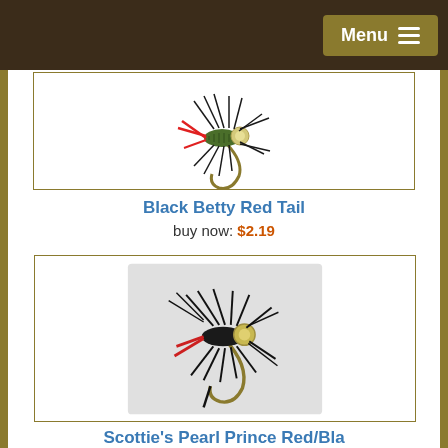Menu
[Figure (photo): Black Betty Red Tail fishing fly lure on white background]
Black Betty Red Tail
buy now: $2.19
[Figure (photo): Scottie's Pearl Prince Red/Black fishing fly lure on gray background]
Scottie's Pearl Prince Red/Black